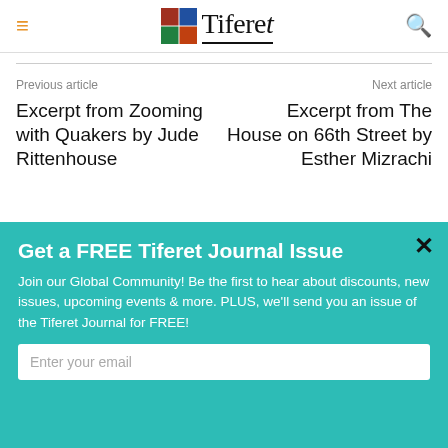Tiferet
Previous article
Excerpt from Zooming with Quakers by Jude Rittenhouse
Next article
Excerpt from The House on 66th Street by Esther Mizrachi
Get a FREE Tiferet Journal Issue
Join our Global Community! Be the first to hear about discounts, new issues, upcoming events & more. PLUS, we'll send you an issue of the Tiferet Journal for FREE!
Enter your email